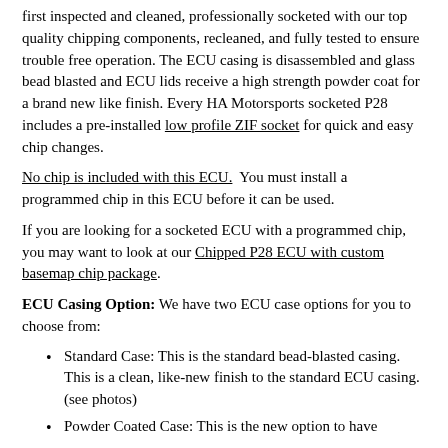first inspected and cleaned, professionally socketed with our top quality chipping components, recleaned, and fully tested to ensure trouble free operation. The ECU casing is disassembled and glass bead blasted and ECU lids receive a high strength powder coat for a brand new like finish. Every HA Motorsports socketed P28 includes a pre-installed low profile ZIF socket for quick and easy chip changes.
No chip is included with this ECU. You must install a programmed chip in this ECU before it can be used.
If you are looking for a socketed ECU with a programmed chip, you may want to look at our Chipped P28 ECU with custom basemap chip package.
ECU Casing Option: We have two ECU case options for you to choose from:
Standard Case: This is the standard bead-blasted casing. This is a clean, like-new finish to the standard ECU casing. (see photos)
Powder Coated Case: This is the new option to have